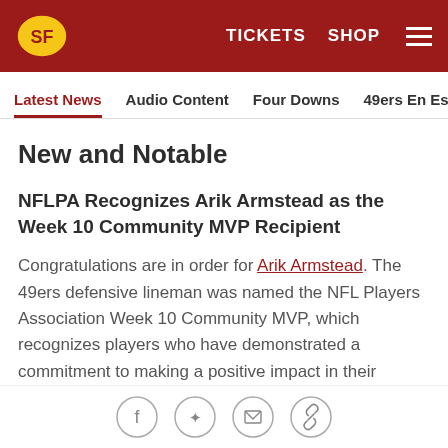49ers | TICKETS  SHOP  ☰
Latest News  Audio Content  Four Downs  49ers En Español  Ga
New and Notable
NFLPA Recognizes Arik Armstead as the Week 10 Community MVP Recipient
Congratulations are in order for Arik Armstead. The 49ers defensive lineman was named the NFL Players Association Week 10 Community MVP, which recognizes players who have demonstrated a commitment to making a positive impact in their community. The weekly Community MVP winners will
[Figure (other): Social sharing icons: Facebook, Twitter, Email, Link]